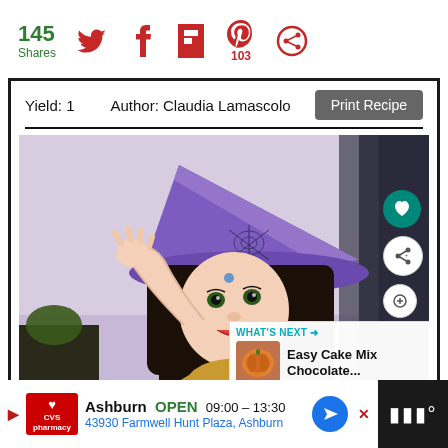[Figure (infographic): Social share bar with 145 total shares, Twitter icon, Facebook icon, Flipboard icon, Pinterest icon with 103 count, and another share icon]
Yield: 1    Author: Claudia Lamascolo
[Figure (photo): A Barbie doll dressed as a witch with a purple pointed hat with spider web design, waving her hand, with dark hair. What's Next overlay showing Easy Cake Mix Chocolate... with a pumpkin thumbnail. Heart and share overlay buttons visible.]
[Figure (infographic): CVS Pharmacy advertisement: Ashburn OPEN 09:00-13:30, 43930 Farmwell Hunt Plaza, Ashburn]